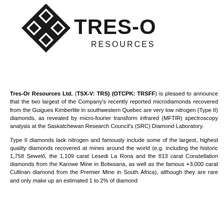[Figure (logo): Tres-Or Resources Ltd. logo with interlocking diamond shapes and company name]
Tres-Or Resources Ltd. (TSX-V: TRS) (OTCPK: TRSFF) is pleased to announce that the two largest of the Company's recently reported microdiamonds recovered from the Guigues Kimberlite in southwestern Quebec are very low nitrogen (Type II) diamonds, as revealed by micro-fourier transform infrared (MFTIR) spectroscopy analysis at the Saskatchewan Research Council's (SRC) Diamond Laboratory.
Type II diamonds lack nitrogen and famously include some of the largest, highest quality diamonds recovered at mines around the world (e.g. including the historic 1,758 Sewelô, the 1,109 carat Lesedi La Rona and the 813 carat Constellation diamonds from the Karowe Mine in Botwsana, as well as the famous +3,000 carat Cullinan diamond from the Premier Mine in South Africa), although they are rare and only make up an estimated 1 to 2% of diamond